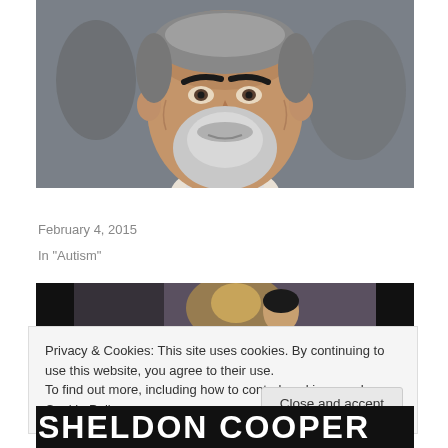[Figure (photo): Close-up photograph of an older man with white/grey beard and dark eyebrows, appearing to be a celebrity or public figure]
Sharks Do Get Cancer
February 4, 2015
In "Autism"
[Figure (photo): Second image showing a person in a dark indoor setting, partially visible]
Privacy & Cookies: This site uses cookies. By continuing to use this website, you agree to their use.
To find out more, including how to control cookies, see here: Cookie Policy
Close and accept
SHELDON COOPER